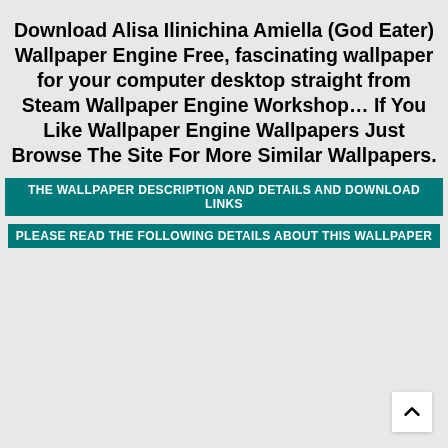Download Alisa Ilinichina Amiella (God Eater) Wallpaper Engine Free, fascinating wallpaper for your computer desktop straight from Steam Wallpaper Engine Workshop… If You Like Wallpaper Engine Wallpapers Just Browse The Site For More Similar Wallpapers.
THE WALLPAPER DESCRIPTION AND DETAILS AND DOWNLOAD LINKS
PLEASE READ THE FOLLOWING DETAILS ABOUT THIS WALLPAPER